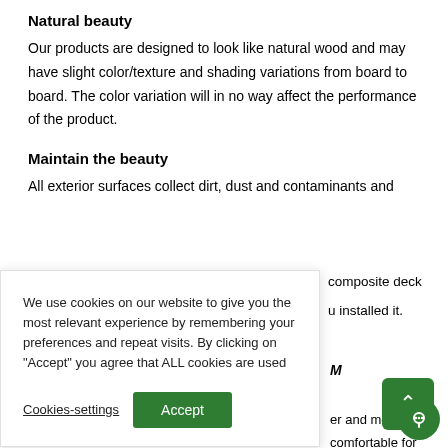Natural beauty
Our products are designed to look like natural wood and may have slight color/texture and shading variations from board to board. The color variation will in no way affect the performance of the product.
Maintain the beauty
All exterior surfaces collect dirt, dust and contaminants and ...composite deck ...u installed it.
[Figure (other): Cookie consent popup overlay with text 'We use cookies on our website to give you the most relevant experience by remembering your preferences and repeat visits. By clicking on "Accept" you agree that ALL cookies are used', with 'Cookies-settings' link and 'Accept' green button]
[Figure (other): Green scroll-to-top button with upward arrow]
[Figure (other): Green circular chat bubble icon]